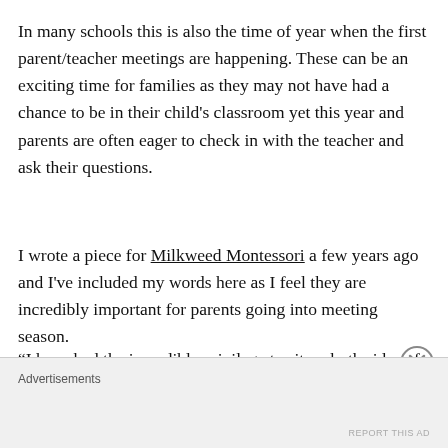In many schools this is also the time of year when the first parent/teacher meetings are happening. These can be an exciting time for families as they may not have had a chance to be in their child's classroom yet this year and parents are often eager to check in with the teacher and ask their questions.
I wrote a piece for Milkweed Montessori a few years ago and I've included my words here as I feel they are incredibly important for parents going into meeting season.
“I have had the incredible privilege to sit on both sides of the table for this. First as an over eager slightly paranoid Mother and then as a patient and slightly paranoid Casa
Advertisements